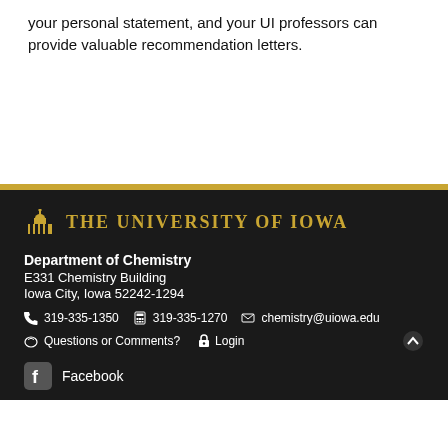your personal statement, and your UI professors can provide valuable recommendation letters.
The University of Iowa — Department of Chemistry
E331 Chemistry Building
Iowa City, Iowa 52242-1294
319-335-1350 | 319-335-1270 | chemistry@uiowa.edu
Questions or Comments? | Login
Facebook